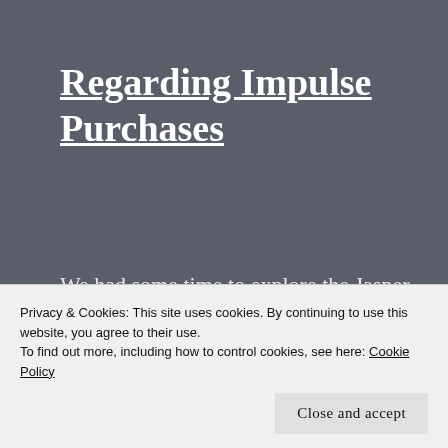Regarding Impulse Purchases
We had some time to explore the Jasper shopping scene a little bit.
I promised myself I wouldn't spend any money on cheesy souvenirs, but we were exploring on Thursday morning and I fell in love with these
Privacy & Cookies: This site uses cookies. By continuing to use this website, you agree to their use.
To find out more, including how to control cookies, see here: Cookie Policy
Close and accept